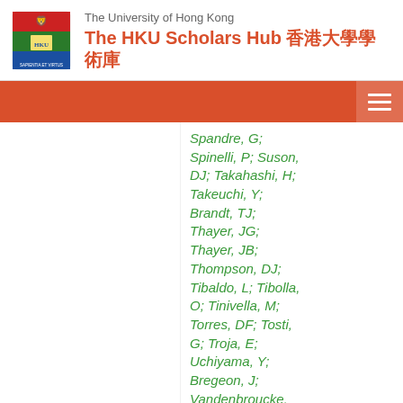The University of Hong Kong — The HKU Scholars Hub 香港大學學術庫
Spandre, G; Spinelli, P; Suson, DJ; Takahashi, H; Takeuchi, Y; Brandt, TJ; Thayer, JG; Thayer, JB; Thompson, DJ; Tibaldo, L; Tibolla, O; Tinivella, M; Torres, DF; Tosti, G; Troja, E; Uchiyama, Y; Bregeon, J; Vandenbroucke, J; Vasileiou, V; Vianello, G; Vitale, V; Werner, M;